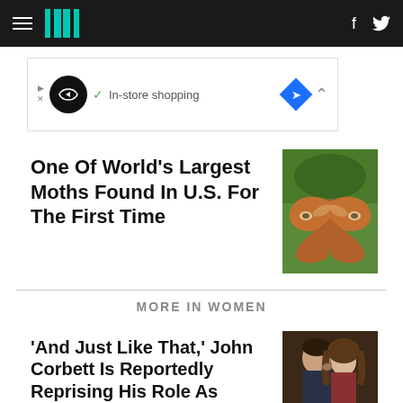HuffPost navigation with hamburger menu, logo, Facebook and Twitter icons
[Figure (screenshot): Ad banner showing In-store shopping advertisement with black circle logo, green checkmark, and blue diamond icon]
One Of World's Largest Moths Found In U.S. For The First Time
[Figure (photo): Close-up photo of a large atlas moth with brown and orange patterned wings spread open against green foliage]
MORE IN WOMEN
'And Just Like That,' John Corbett Is Reportedly Reprising His Role As Aidan Shaw
[Figure (photo): Photo of a man and woman looking at each other closely, appearing to be from Sex and the City]